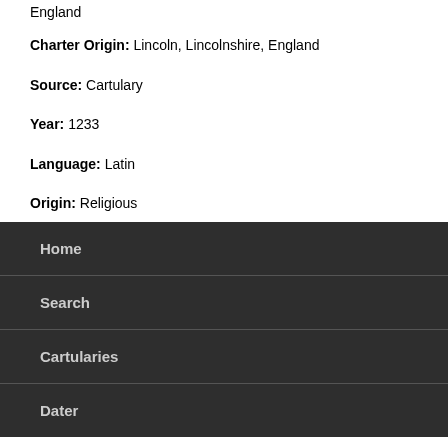England
Charter Origin: Lincoln, Lincolnshire, England
Source: Cartulary
Year: 1233
Language: Latin
Origin: Religious
^ Top
Home
Search
Cartularies
Dater